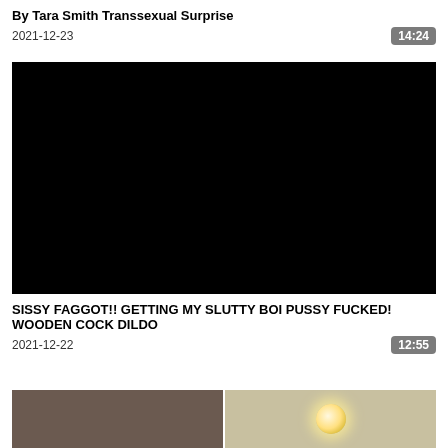By Tara Smith Transsexual Surprise
2021-12-23
14:24
[Figure (photo): Black video thumbnail placeholder]
SISSY FAGGOT!! GETTING MY SLUTTY BOI PUSSY FUCKED! WOODEN COCK DILDO
2021-12-22
12:55
[Figure (photo): Partial video thumbnail showing two panels]